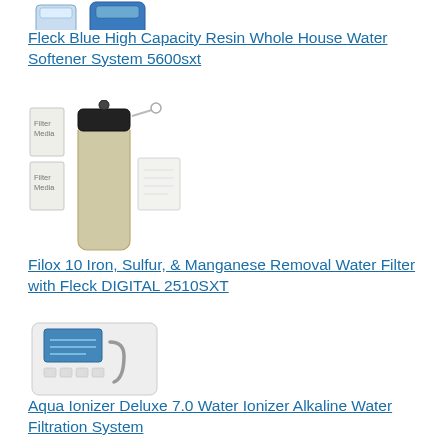[Figure (photo): Product image of Fleck Blue High Capacity Resin Whole House Water Softener System 5600sxt - two blue cylindrical tanks with control valve]
Fleck Blue High Capacity Resin Whole House Water Softener System 5600sxt
[Figure (photo): Product image of Filox 10 Iron, Sulfur, & Manganese Removal Water Filter with Fleck DIGITAL 2510SXT - tall beige tank with black digital control head and accessories]
Filox 10 Iron, Sulfur, & Manganese Removal Water Filter with Fleck DIGITAL 2510SXT
[Figure (photo): Product image of Aqua Ionizer Deluxe 7.0 Water Ionizer Alkaline Water Filtration System - white machine with blue LCD display]
Aqua Ionizer Deluxe 7.0 Water Ionizer Alkaline Water Filtration System
[Figure (photo): Product image partially visible - two black cylindrical tanks/units]